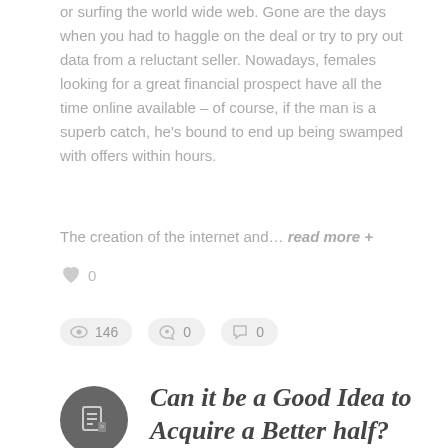or surfing the world wide web. Gone are the days when you had to haggle on the deal or try to pry out data from a reluctant seller. Nowadays, females looking for a great financial prospect have all the time online available – of course, if the man is a superb catch, he's bound to end up being swamped with offers within hours.
The creation of the internet and… read more +
♥ 0
👁 146   ♥ 0   💬 0
Can it be a Good Idea to Acquire a Better half?
30. April 2021